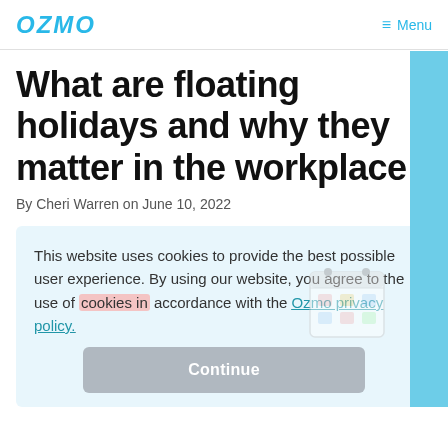OZMO   ≡ Menu
What are floating holidays and why they matter in the workplace
By Cheri Warren on June 10, 2022
This website uses cookies to provide the best possible user experience. By using our website, you agree to the use of cookies in accordance with the Ozmo privacy policy.
Continue